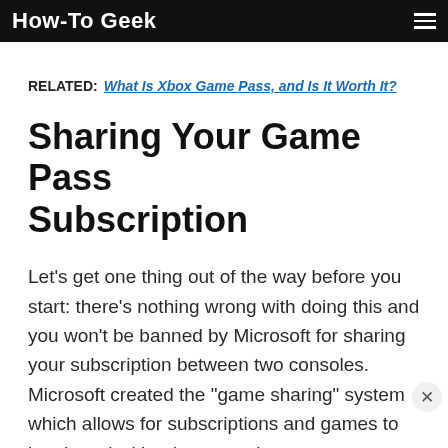How-To Geek
RELATED: What Is Xbox Game Pass, and Is It Worth It?
Sharing Your Game Pass Subscription
Let’s get one thing out of the way before you start: there’s nothing wrong with doing this and you won’t be banned by Microsoft for sharing your subscription between two consoles. Microsoft created the “game sharing” system which allows for subscriptions and games to be shared with other consoles.